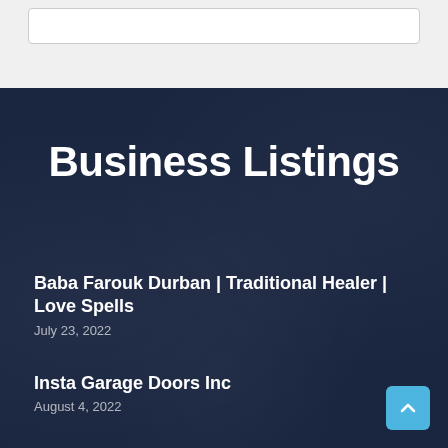Business Listings
Baba Farouk Durban | Traditional Healer | Love Spells
July 23, 2022
Insta Garage Doors Inc
August 4, 2022